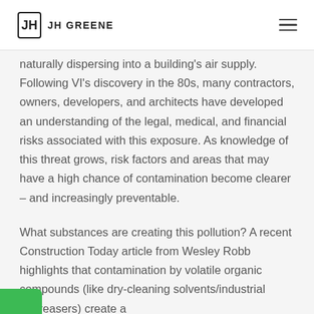JH GREENE
naturally dispersing into a building's air supply. Following VI's discovery in the 80s, many contractors, owners, developers, and architects have developed an understanding of the legal, medical, and financial risks associated with this exposure. As knowledge of this threat grows, risk factors and areas that may have a high chance of contamination become clearer – and increasingly preventable.
What substances are creating this pollution? A recent Construction Today article from Wesley Robb highlights that contamination by volatile organic compounds (like dry-cleaning solvents/industrial degreasers) create a